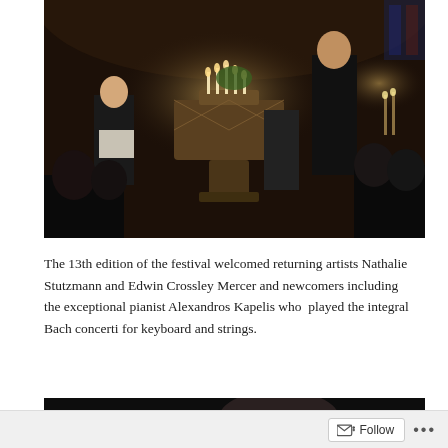[Figure (photo): Indoor concert in a church setting with candlelight. A woman on the left holds sheet music, a man in a dark suit stands at center-right appearing to conduct or sing, candles and a stone baptismal font are visible, and an audience is seated in the foreground.]
The 13th edition of the festival welcomed returning artists Nathalie Stutzmann and Edwin Crossley Mercer and newcomers including the exceptional pianist Alexandros Kapelis who  played the integral Bach concerti for keyboard and strings.
[Figure (photo): Partial view of a dark concert/performance photo, showing the back of a person's head in the foreground against a very dark background.]